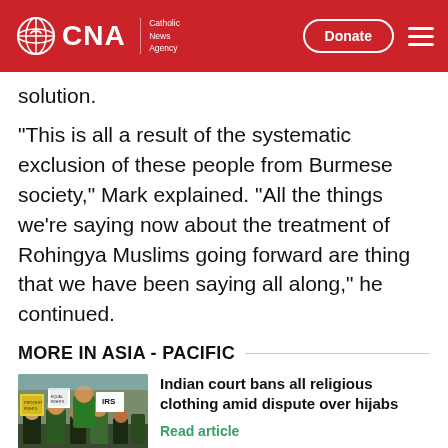CNA | Catholic News Agency
solution.
"This is all a result of the systematic exclusion of these people from Burmese society," Mark explained. "All the things we're saying now about the treatment of Rohingya Muslims going forward are thing that we have been saying all along," he continued.
MORE IN ASIA - PACIFIC
[Figure (photo): Photo of protesters holding signs at what appears to be a demonstration related to Indian court religious clothing dispute]
Indian court bans all religious clothing amid dispute over hijabs
Read article